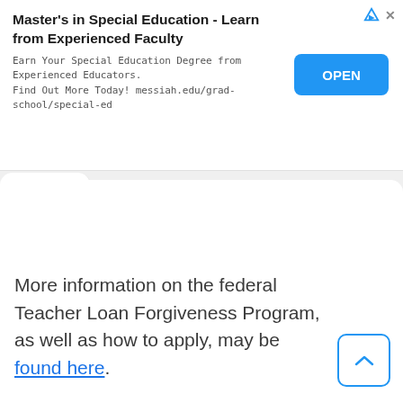Master's in Special Education - Learn from Experienced Faculty
Earn Your Special Education Degree from Experienced Educators. Find Out More Today! messiah.edu/grad-school/special-ed
More information on the federal Teacher Loan Forgiveness Program, as well as how to apply, may be found here.